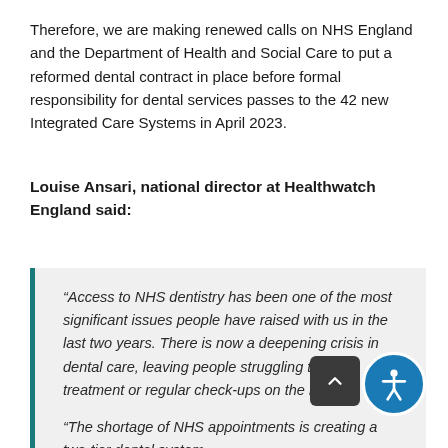Therefore, we are making renewed calls on NHS England and the Department of Health and Social Care to put a reformed dental contract in place before formal responsibility for dental services passes to the 42 new Integrated Care Systems in April 2023.
Louise Ansari, national director at Healthwatch England said:
“Access to NHS dentistry has been one of the most significant issues people have raised with us in the last two years. There is now a deepening crisis in dental care, leaving people struggling to get treatment or regular check-ups on the NHS.

“The shortage of NHS appointments is creating a two-tier dental system…